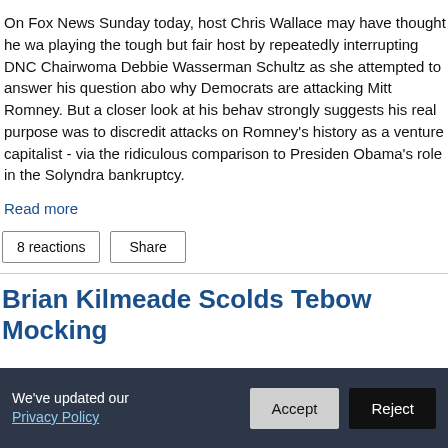On Fox News Sunday today, host Chris Wallace may have thought he was playing the tough but fair host by repeatedly interrupting DNC Chairwoman Debbie Wasserman Schultz as she attempted to answer his question about why Democrats are attacking Mitt Romney. But a closer look at his behavior strongly suggests his real purpose was to discredit attacks on Romney's history as a venture capitalist - via the ridiculous comparison to President Obama's role in the Solyndra bankruptcy.
Read more
8 reactions   Share
Brian Kilmeade Scolds Tebow Mocking
We've updated our Privacy Policy   Accept   Reject